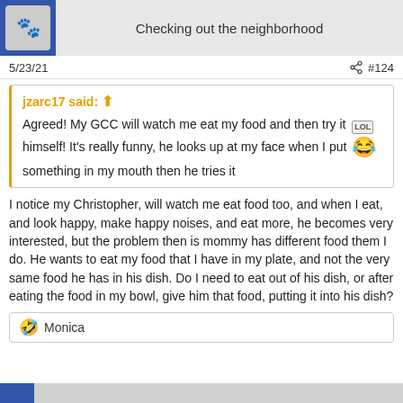Checking out the neighborhood
5/23/21    #124
jzarc17 said: ⬆ Agreed! My GCC will watch me eat my food and then try it himself! It's really funny, he looks up at my face when I put something in my mouth then he tries it 😂
I notice my Christopher, will watch me eat food too, and when I eat, and look happy, make happy noises, and eat more, he becomes very interested, but the problem then is mommy has different food them I do. He wants to eat my food that I have in my plate, and not the very same food he has in his dish. Do I need to eat out of his dish, or after eating the food in my bowl, give him that food, putting it into his dish?
🤣 Monica